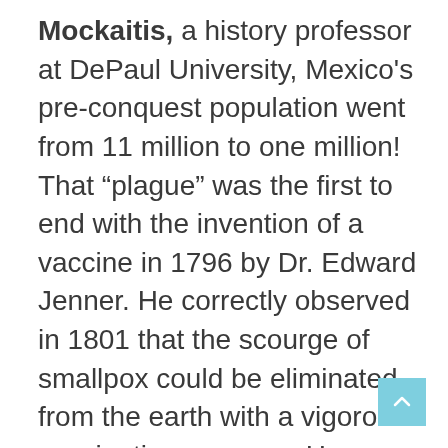Mockaitis, a history professor at DePaul University, Mexico's pre-conquest population went from 11 million to one million! That “plague” was the first to end with the invention of a vaccine in 1796 by Dr. Edward Jenner. He correctly observed in 1801 that the scourge of smallpox could be eliminated from the earth with a vigorous vaccination program. He proved to be correct when, in 1980 the World Health Organization (“WHO”) declared that smallpox in fact had been eradicated globally.